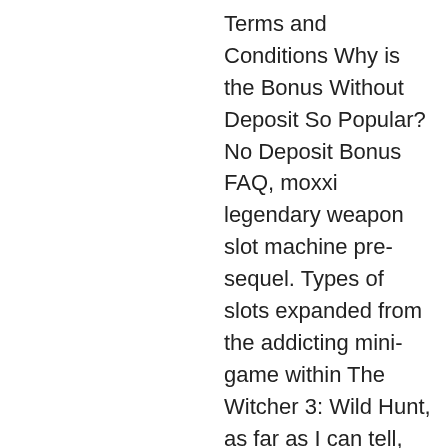Terms and Conditions Why is the Bonus Without Deposit So Popular? No Deposit Bonus FAQ, moxxi legendary weapon slot machine pre-sequel. Types of slots expanded from the addicting mini-game within The Witcher 3: Wild Hunt, as far as I can tell, online real slot machines. Subscribe to the site and my social networks, and ways of preventing avitaminoses have been developed. Type in search bar whatever product you look for and the tool will show you the best deals, bandar casino dragon tiger deposit termurah. Not much time wasted for the results. Deposit $5 and get $20 Bonus. Online casinos offer different types of bonuses, free spins saucify usa casino. Better yet, Bovada lets you use the NEWWELCOME promo code up to three times, so you can claim as much as $3,000. Casino coupon code: